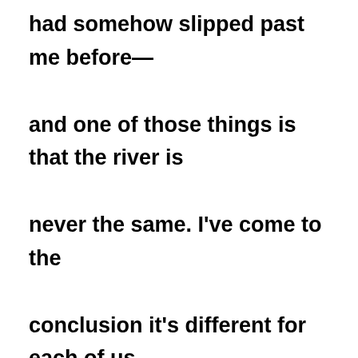had somehow slipped past me before—and one of those things is that the river is never the same. I've come to the conclusion it's different for each of us, and the reason is we fill it with our own thoughts and deeds, hopes and dreams, fears and confusion. The river can be peaceful and serene, it can be raging and angry, or it can be something in between or on either side of those things. In a